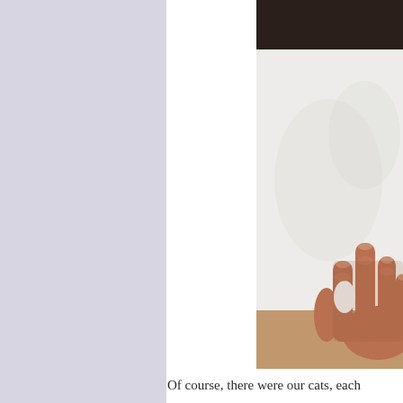[Figure (photo): Close-up photo of a person's hand holding a small white object against a white fluffy background (likely a cat or blanket), with dark background visible at top.]
Of course, there were our cats, each